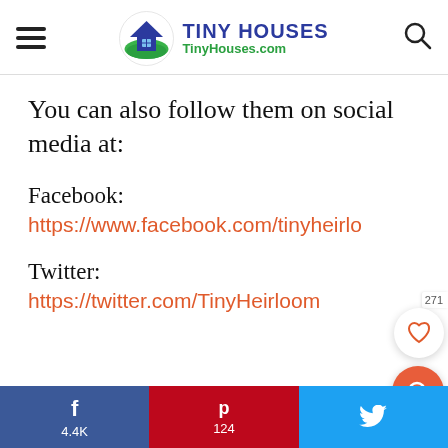TINY HOUSES TinyHouses.com
You can also follow them on social media at:
Facebook:
https://www.facebook.com/tinyheirlo
Twitter:
https://twitter.com/TinyHeirloom
f 4.4K   p 124   t